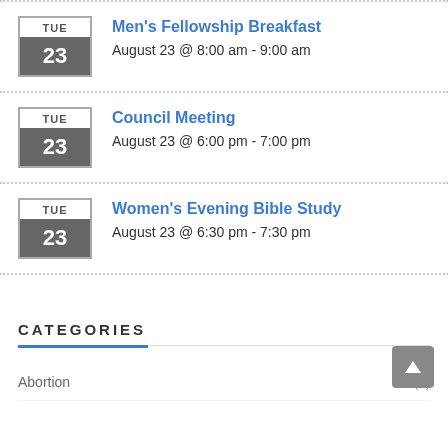Men's Fellowship Breakfast — August 23 @ 8:00 am - 9:00 am
Council Meeting — August 23 @ 6:00 pm - 7:00 pm
Women's Evening Bible Study — August 23 @ 6:30 pm - 7:30 pm
CATEGORIES
Abortion (1)